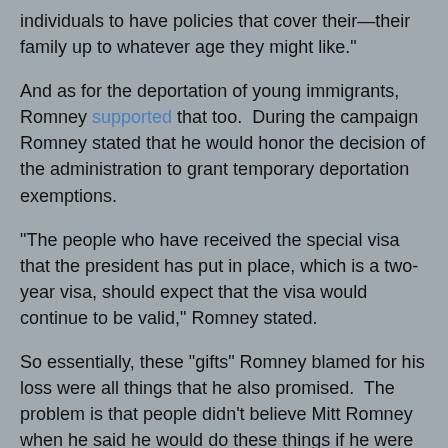individuals to have policies that cover their—their family up to whatever age they might like."
And as for the deportation of young immigrants, Romney supported that too.  During the campaign Romney stated that he would honor the decision of the administration to grant temporary deportation exemptions.
"The people who have received the special visa that the president has put in place, which is a two-year visa, should expect that the visa would continue to be valid," Romney stated.
So essentially, these "gifts" Romney blamed for his loss were all things that he also promised.  The problem is that people didn't believe Mitt Romney when he said he would do these things if he were to get in office.  Maybe that had something to do with the fact that with all these positions Romney attempted to stand on both sides of the issue.  It would seem that any future candidate would take Mitt Romney's campaign and learn from its mistakes, much like Romney should have from the John Kerry campaign of 2004, in which